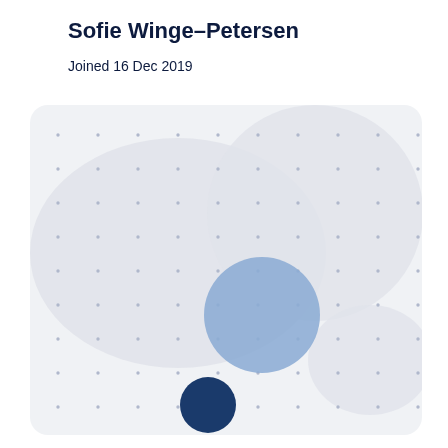Sofie Winge-Petersen
Joined 16 Dec 2019
[Figure (bubble-chart): A dot/bubble chart on a light grey dotted grid background. Two large light grey rounded shapes (blob regions) appear — one in the upper-left area and one in the upper-right area. A medium-sized muted blue circle appears in the center-right area. A smaller dark navy/blue filled circle appears near the bottom center of the chart.]